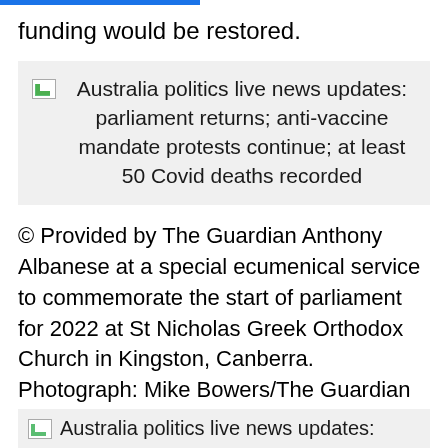funding would be restored.
[Figure (other): Linked article box with broken image icon and headline: Australia politics live news updates: parliament returns; anti-vaccine mandate protests continue; at least 50 Covid deaths recorded]
© Provided by The Guardian Anthony Albanese at a special ecumenical service to commemorate the start of parliament for 2022 at St Nicholas Greek Orthodox Church in Kingston, Canberra. Photograph: Mike Bowers/The Guardian
Barnaby Joyce did not join other leaders in the front row:
[Figure (other): Partially visible linked article box with broken image icon and partial headline: Australia politics live news updates:]